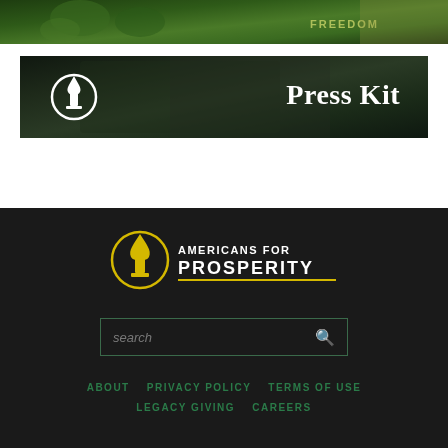[Figure (photo): Top strip showing outdoor rally scene with greenery and a person wearing a yellow FREEDOM shirt, partially cropped]
[Figure (photo): Press Kit banner with dark overlay over a photo of hands working at a desk with notebook and laptop. White torch/circle logo on left, 'Press Kit' text on right in white serif font.]
[Figure (logo): Americans for Prosperity logo in footer: yellow torch/circle icon with 'AMERICANS FOR PROSPERITY' text in white/yellow, underlined]
search
ABOUT   PRIVACY POLICY   TERMS OF USE   LEGACY GIVING   CAREERS